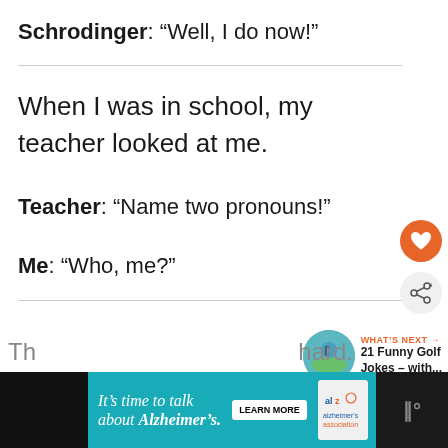Schrodinger: “Well, I do now!”
When I was in school, my teacher looked at me.
Teacher: “Name two pronouns!”
Me: “Who, me?”
[Figure (screenshot): Orange heart/like button and share button UI elements on right side]
[Figure (screenshot): What's Next panel with golf image thumbnail and text '21 Funny Golf Jokes – with...']
[Figure (screenshot): Alzheimer's Association advertisement banner at bottom reading 'It’s time to talk about Alzheimer’s.' with LEARN MORE button]